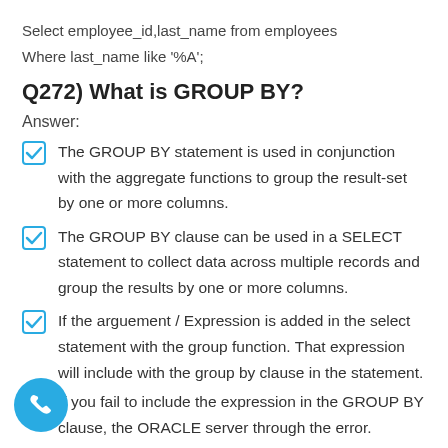Select employee_id,last_name from employees
Where last_name like '%A';
Q272) What is GROUP BY?
Answer:
The GROUP BY statement is used in conjunction with the aggregate functions to group the result-set by one or more columns.
The GROUP BY clause can be used in a SELECT statement to collect data across multiple records and group the results by one or more columns.
If the arguement / Expression is added in the select statement with the group function. That expression will include with the group by clause in the statement.
If you fail to include the expression in the GROUP BY clause, the ORACLE server through the error.